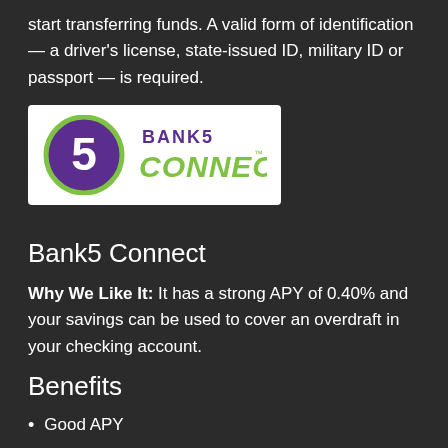start transferring funds. A valid form of identification — a driver's license, state-issued ID, military ID or passport — is required.
[Figure (logo): Bank5 Connect logo — a circular purple and green icon with the number 5, next to the text 'BANK5 CONNECT' in purple and green lettering on a white background.]
Bank5 Connect
Why We Like It: It has a strong APY of 0.40% and your savings can be used to cover an overdraft in your checking account.
Benefits
Good APY